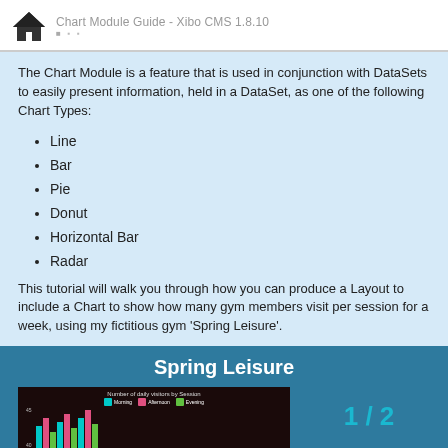Chart Module Guide - Xibo CMS 1.8.10
The Chart Module is a feature that is used in conjunction with DataSets to easily present information, held in a DataSet, as one of the following Chart Types:
Line
Bar
Pie
Donut
Horizontal Bar
Radar
This tutorial will walk you through how you can produce a Layout to include a Chart to show how many gym members visit per session for a week, using my fictitious gym 'Spring Leisure'.
[Figure (screenshot): Preview of Spring Leisure gym dashboard showing a dark-themed bar chart titled 'Number of daily visitors by Session' with Morning, Afternoon, Evening legend entries. Page counter shows 1/2.]